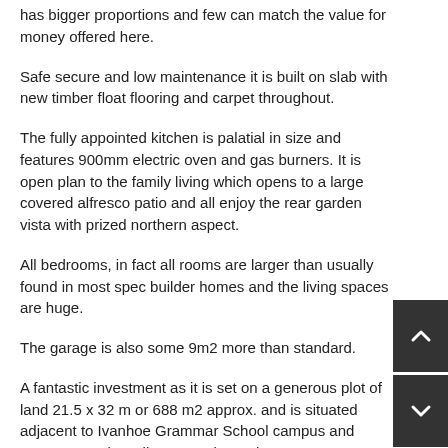has bigger proportions and few can match the value for money offered here.
Safe secure and low maintenance it is built on slab with new timber float flooring and carpet throughout.
The fully appointed kitchen is palatial in size and features 900mm electric oven and gas burners. It is open plan to the family living which opens to a large covered alfresco patio and all enjoy the rear garden vista with prized northern aspect.
All bedrooms, in fact all rooms are larger than usually found in most spec builder homes and the living spaces are huge.
The garage is also some 9m2 more than standard.
A fantastic investment as it is set on a generous plot of land 21.5 x 32 m or 688 m2 approx. and is situated adjacent to Ivanhoe Grammar School campus and approx. 12 min walk to Mernda Station.